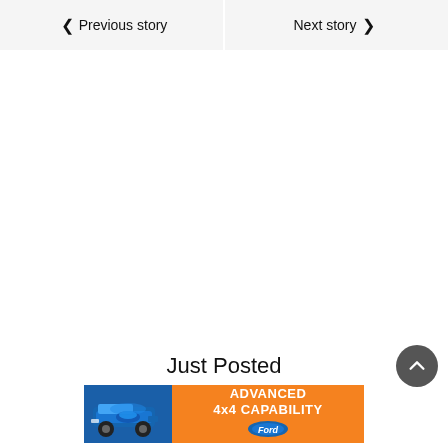◀ Previous story
Next story ▶
Just Posted
[Figure (other): Ford Advanced 4x4 Capability advertisement banner with blue Ford SUV on left and orange background with white bold text on right.]